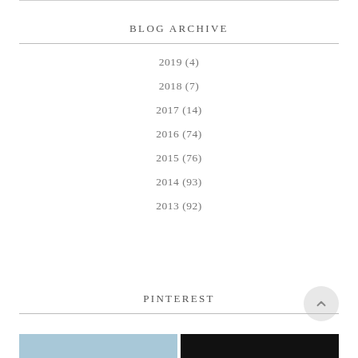BLOG ARCHIVE
2019 (4)
2018 (7)
2017 (14)
2016 (74)
2015 (76)
2014 (93)
2013 (92)
PINTEREST
[Figure (photo): Two images at the bottom: left showing a light blue sky/water scene, right showing a dark/black image]